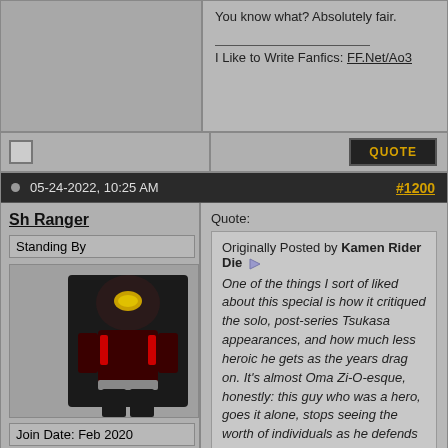You know what? Absolutely fair.
I Like to Write Fanfics: FF.Net/Ao3
05-24-2022, 10:25 AM
#1200
Sh Ranger
Standing By
Join Date: Feb 2020
Location: USA
Posts: 1,329
Quote: Originally Posted by Kamen Rider Die. One of the things I sort of liked about this special is how it critiqued the solo, post-series Tsukasa appearances, and how much less heroic he gets as the years drag on. It's almost Oma Zi-O-esque, honestly: this guy who was a hero, goes it alone, stops seeing the worth of individuals as he defends a larger scale of humanity, and eventually becomes indistinguishable